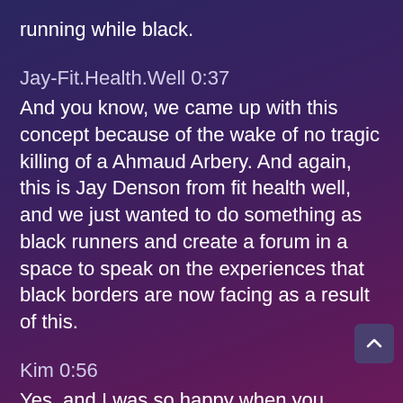running while black.
Jay-Fit.Health.Well 0:37
And you know, we came up with this concept because of the wake of no tragic killing of a Ahmaud Arbery. And again, this is Jay Denson from fit health well, and we just wanted to do something as black runners and create a forum in a space to speak on the experiences that black borders are now facing as a result of this.
Kim 0:56
Yes, and I was so happy when you